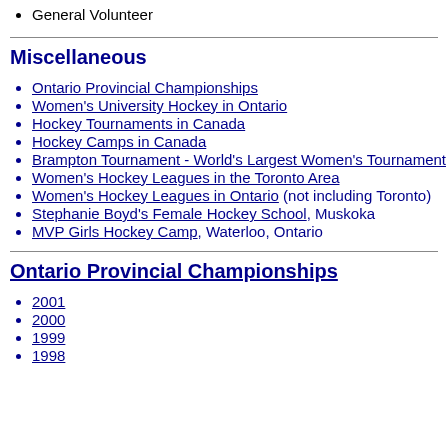General Volunteer
Miscellaneous
Ontario Provincial Championships
Women's University Hockey in Ontario
Hockey Tournaments in Canada
Hockey Camps in Canada
Brampton Tournament - World's Largest Women's Tournament
Women's Hockey Leagues in the Toronto Area
Women's Hockey Leagues in Ontario (not including Toronto)
Stephanie Boyd's Female Hockey School, Muskoka
MVP Girls Hockey Camp, Waterloo, Ontario
Ontario Provincial Championships
2001
2000
1999
1998